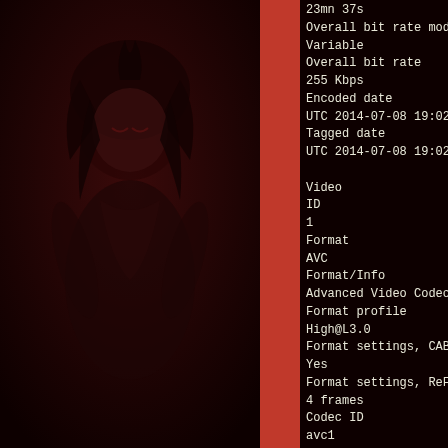[Figure (illustration): Dark red-tinted anime illustration of a girl on the left panel background]
23mn 37s
Overall bit rate mode
Variable
Overall bit rate
255 Kbps
Encoded date
UTC 2014-07-08 19:02:14
Tagged date
UTC 2014-07-08 19:02:14

Video
ID
1
Format
AVC
Format/Info
Advanced Video Codec
Format profile
High@L3.0
Format settings, CABAC
Yes
Format settings, ReFrames
4 frames
Codec ID
avc1
Codec ID/Info
Advanced Video Coding
Duration
23mn 37s
Bit rate